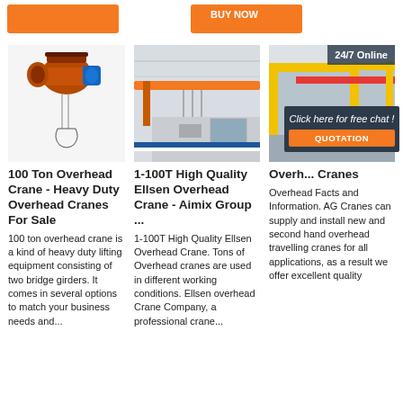[Figure (other): Two orange call-to-action buttons at the top of the page]
[Figure (photo): Orange electric wire rope hoist/trolley with hook on white background]
100 Ton Overhead Crane - Heavy Duty Overhead Cranes For Sale
100 ton overhead crane is a kind of heavy duty lifting equipment consisting of two bridge girders. It comes in several options to match your business needs and...
[Figure (photo): Factory interior with orange overhead crane beam mounted to ceiling]
1-100T High Quality Ellsen Overhead Crane - Aimix Group ...
1-100T High Quality Ellsen Overhead Crane. Tons of Overhead cranes are used in different working conditions. Ellsen overhead Crane Company, a professional crane...
[Figure (photo): Industrial warehouse with yellow overhead crane structure and woman customer service representative overlay]
Overhead Cranes
Overhead Facts and Information. AG Cranes can supply and install new and second hand overhead travelling cranes for all applications, as a result we offer excellent quality